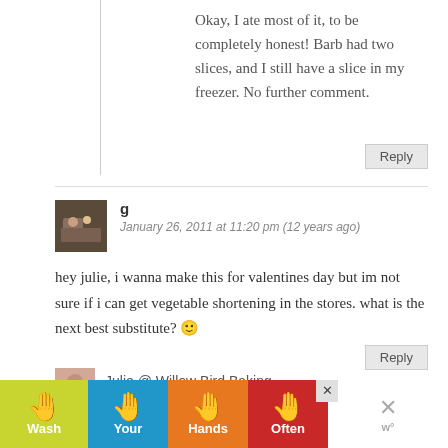Okay, I ate most of it, to be completely honest! Barb had two slices, and I still have a slice in my freezer. No further comment.
Reply
g
January 26, 2011 at 11:20 pm (12 years ago)
hey julie, i wanna make this for valentines day but im not sure if i can get vegetable shortening in the stores. what is the next best substitute? 🙂
Reply
Julie @ Willow Bird Baking
[Figure (infographic): Wash Your Hands Often public health advertisement banner with four colored segments (yellow-green, blue, orange, red) each showing a hand emoji and one word: Wash, Your, Hands, Often]